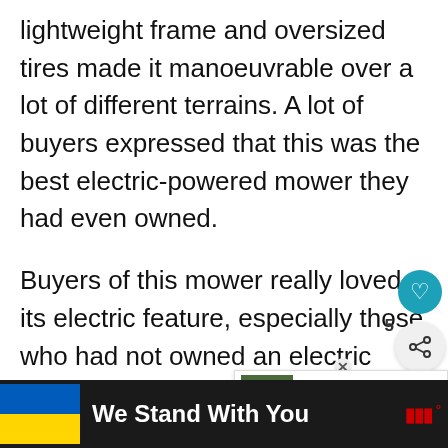lightweight frame and oversized tires made it manoeuvrable over a lot of different terrains. A lot of buyers expressed that this was the best electric-powered mower they had even owned.
Buyers of this mower really loved its electric feature, especially those who had not owned an electric mower prior to this one. They appreciated being able to plug in the mower and not having to run to the gas station before every mowing job. The majority of buyers were in agreement that
[Figure (screenshot): UI overlay: heart/like button (teal circle with heart icon), share button (light grey circle with share icon), count '5', and a 'What's Next' recommendation card showing a Greenworks Cordless mower thumbnail with text 'WHAT'S NEXT → Greenworks Cordless...']
[Figure (infographic): Bottom banner on dark background: Ukrainian flag (blue and yellow), bold white text 'We Stand With You', close X button, CNN logo (red) at far right]